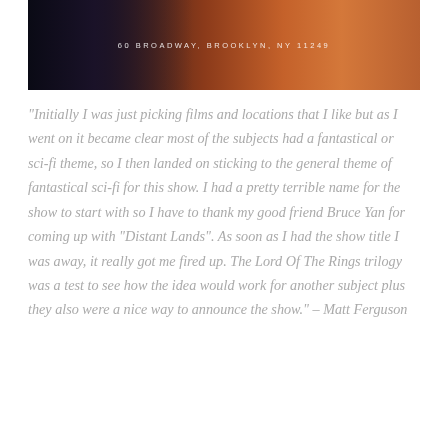[Figure (photo): A wide panoramic image showing a fantastical landscape. On the left is a dark gothic castle silhouette against a dark sky, and on the right is a warm orange-red volcanic or fiery mountain landscape. An address overlay reads '60 BROADWAY, BROOKLYN, NY 11249' in white text centered on the image.]
“Initially I was just picking films and locations that I like but as I went on it became clear most of the subjects had a fantastical or sci-fi theme, so I then landed on sticking to the general theme of fantastical sci-fi for this show. I had a pretty terrible name for the show to start with so I have to thank my good friend Bruce Yan for coming up with “Distant Lands”. As soon as I had the show title I was away, it really got me fired up. The Lord Of The Rings trilogy was a test to see how the idea would work for another subject plus they also were a nice way to announce the show.” – Matt Ferguson